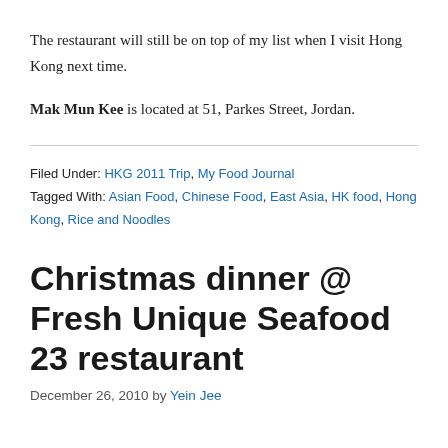The restaurant will still be on top of my list when I visit Hong Kong next time.
Mak Mun Kee is located at 51, Parkes Street, Jordan.
Filed Under: HKG 2011 Trip, My Food Journal
Tagged With: Asian Food, Chinese Food, East Asia, HK food, Hong Kong, Rice and Noodles
Christmas dinner @ Fresh Unique Seafood 23 restaurant
December 26, 2010 by Yein Jee